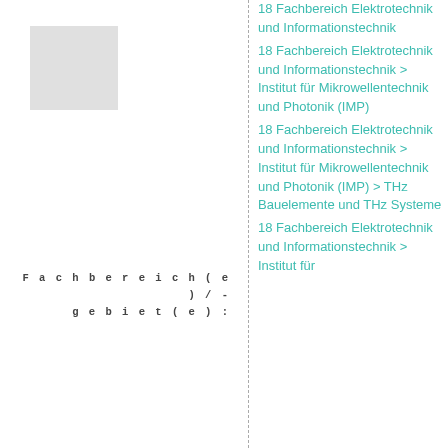[Figure (photo): Light gray placeholder image box in upper left]
Fachbereich(e)/-
gebiet(e):
18 Fachbereich Elektrotechnik und Informationstechnik
18 Fachbereich Elektrotechnik und Informationstechnik > Institut für Mikrowellentechnik und Photonik (IMP)
18 Fachbereich Elektrotechnik und Informationstechnik > Institut für Mikrowellentechnik und Photonik (IMP) > THz Bauelemente und THz Systeme
18 Fachbereich Elektrotechnik und Informationstechnik > Institut für